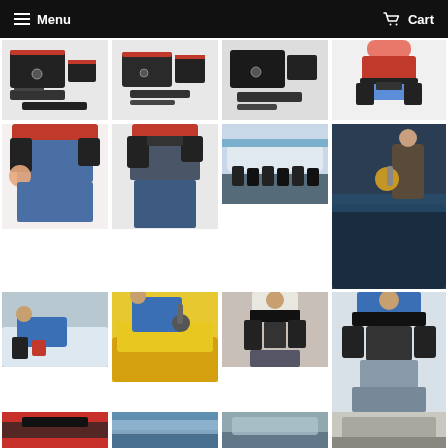Menu  Cart
[Figure (photo): Tool belt components laid flat on white background - black pouches with red accents]
[Figure (photo): Tool belt components laid flat - black bags with red strips]
[Figure (photo): Tool belt components flat lay - black pouches]
[Figure (photo): Woman in red top wearing tool belt]
[Figure (photo): Person wearing red and black tool belt holding gloves]
[Figure (photo): Person wearing black tool belt - close up on jeans]
[Figure (photo): Group of people in black uniforms in front of aircraft]
[Figure (photo): Person polishing large boat hull wearing tool belt]
[Figure (photo): Man in blue shirt crouching on aircraft with tool belt]
[Figure (photo): Man in blue shirt using buffer on yellow car]
[Figure (photo): Person standing with black tool belt and pouches]
[Figure (photo): Man in blue shirt showing tool belt from front]
[Figure (photo): Partial image at bottom - tool or belt equipment]
[Figure (photo): Partial image at bottom - outdoor scene]
[Figure (photo): Partial image at bottom - boat or vehicle]
[Figure (photo): Partial image at bottom - person or equipment]